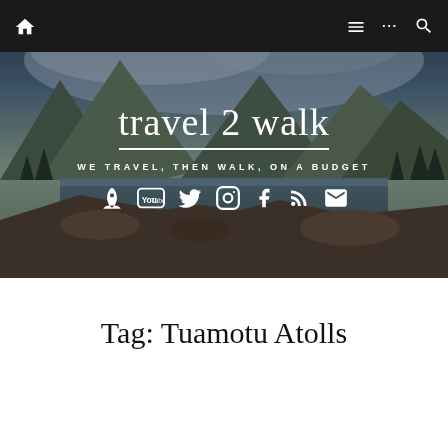travel 2 walk — navigation bar with home, menu, more, search icons
[Figure (photo): Mountain lake landscape with rocky shores, evergreen trees, and dramatic cloudy sky — hero banner background image for travel blog]
travel 2 walk
WE TRAVEL, THEN WALK, ON A BUDGET
Social media icons: rocket, YouTube, Twitter, Instagram, Facebook, RSS, email
Tag: Tuamotu Atolls